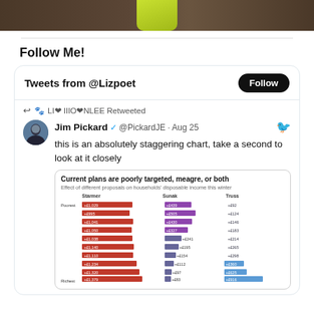[Figure (photo): Top banner image with dark brown background and yellow-green object in center]
Follow Me!
Tweets from @Lizpoet
LI❤ IIIO❤NLEE Retweeted
Jim Pickard ✓ @PickardJE · Aug 25
this is an absolutely staggering chart, take a second to look at it closely
[Figure (bar-chart): Effect of different proposals on households' disposable income this winter. Three columns: Starmer, Sunak, Truss. Rows from Poorest to Richest with monetary values.]